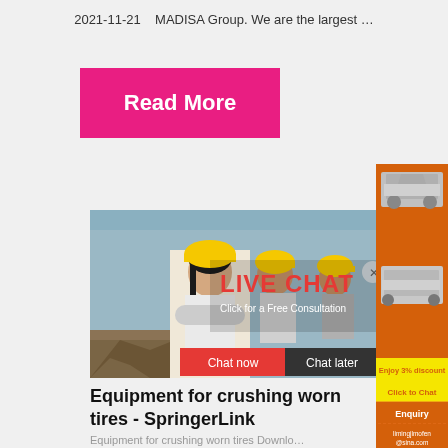2021-11-21   MADISA Group. We are the largest …
Read More
[Figure (photo): Construction workers in yellow hard hats at a site, with a Live Chat overlay popup showing 'LIVE CHAT Click for a Free Consultation' with Chat now and Chat later buttons]
Equipment for crushing worn tires - SpringerLink
Equipment for crushing worn tires Downlo…
[Figure (infographic): Right sidebar orange panel with machinery images, 'Enjoy 3% discount', 'Click to Chat', 'Enquiry', and email limingjlmofen@sina.com]